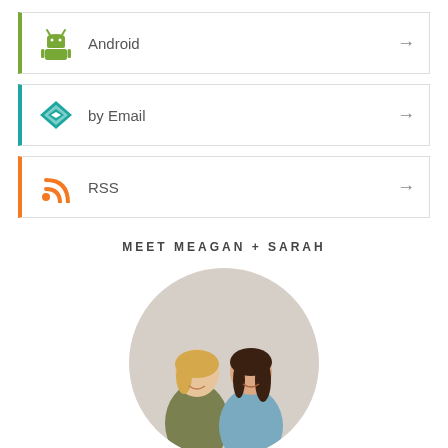Android
by Email
RSS
MEET MEAGAN + SARAH
[Figure (photo): Two women smiling, one blonde and one brunette, cropped in a circle]